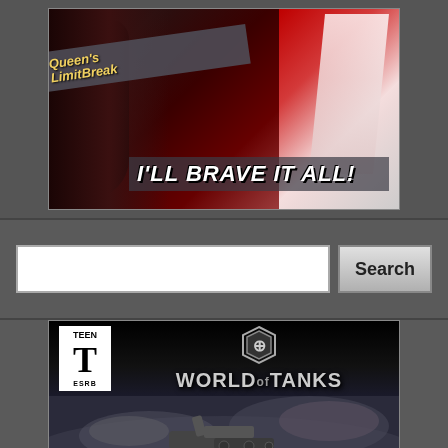[Figure (screenshot): Banner advertisement for 'Queen's Limit Break' anime game with character artwork and text reading I'LL BRAVE IT ALL!]
[Figure (screenshot): Search bar UI with empty text input field and Search button]
[Figure (screenshot): World of Tanks game box art showing TEEN ESRB rating, World of Tanks logo with emblem, and tank in battle scene with smoke]